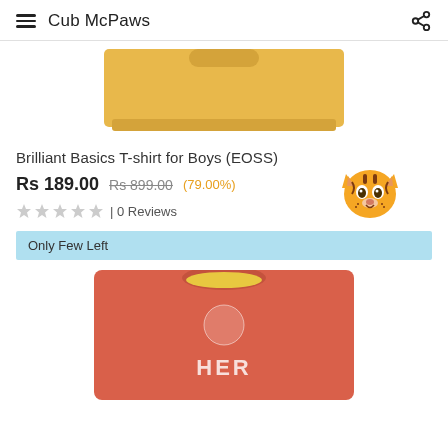Cub McPaws
[Figure (photo): Top portion of a yellow/mustard colored boys t-shirt, cropped at the top of the page]
Brilliant Basics T-shirt for Boys (EOSS)
Rs 189.00  Rs 899.00  (79.00%)
[Figure (illustration): Tiger face emoji overlapping the price/discount area]
★ ★ ★ ★ ★ | 0 Reviews
Only Few Left
[Figure (photo): Top portion of a red/coral colored boys t-shirt with white text graphic, partially visible at the bottom of the page]